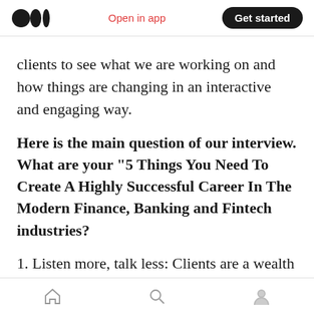Open in app | Get started
clients to see what we are working on and how things are changing in an interactive and engaging way.
Here is the main question of our interview. What are your “5 Things You Need To Create A Highly Successful Career In The Modern Finance, Banking and Fintech industries?
1. Listen more, talk less: Clients are a wealth of product ideas. Listen to your clients, don’t just pitch them. Our product roadmap is guided by our clients, and by hearing what challenges they
Home | Search | Profile